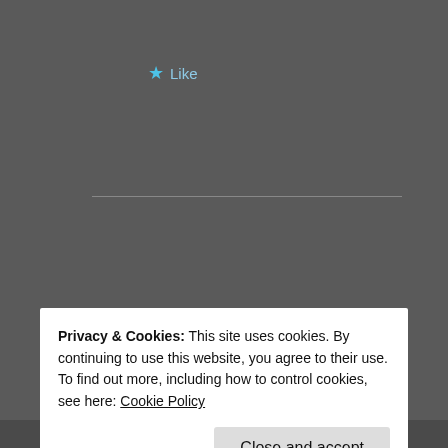Like
Advertisements
21stCenturyHousewife
APRIL 25, 2018 AT 3:09 PM
Privacy & Cookies: This site uses cookies. By continuing to use this website, you agree to their use.
To find out more, including how to control cookies, see here: Cookie Policy
Close and accept
job. Have you tried GCC cafe latte. Lasting